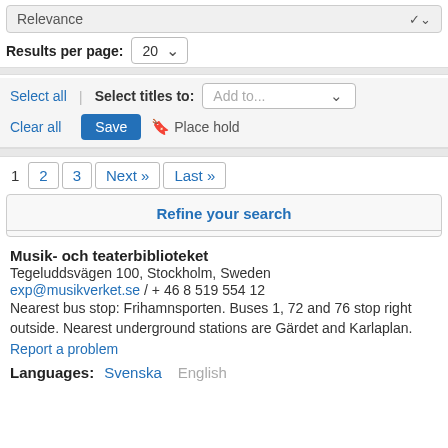Relevance
Results per page: 20
Select all | Select titles to: Add to...
Clear all  Save  Place hold
1  2  3  Next »  Last »
Refine your search
Musik- och teaterbiblioteket
Tegeluddsvägen 100, Stockholm, Sweden
exp@musikverket.se / + 46 8 519 554 12
Nearest bus stop: Frihamnsporten. Buses 1, 72 and 76 stop right outside. Nearest underground stations are Gärdet and Karlaplan.
Report a problem
Languages: Svenska  English